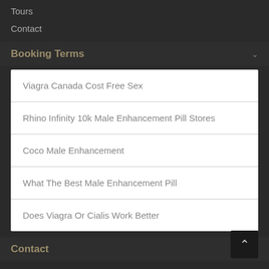Tours
Contact
Booking Terms
Viagra Canada Cost Free Sex
Rhino Infinity 10k Male Enhancement Pill Stores
Coco Male Enhancement
What The Best Male Enhancement Pill
Does Viagra Or Cialis Work Better
Contact